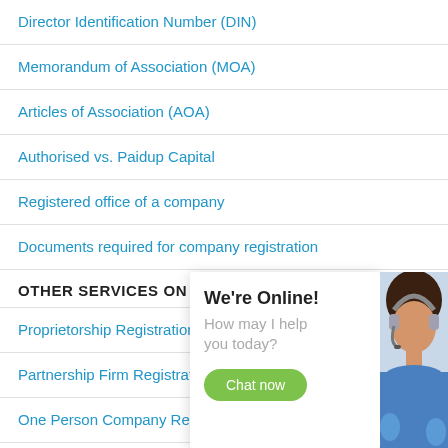Director Identification Number (DIN)
Memorandum of Association (MOA)
Articles of Association (AOA)
Authorised vs. Paidup Capital
Registered office of a company
Documents required for company registration
OTHER SERVICES ON INDIAFILINGS IN MATHURA
Proprietorship Registration
Partnership Firm Registration
One Person Company Registration
Public Limited Company Registration
Nidhi Company Registration in Mathura
[Figure (photo): Chat widget overlay with agent photo, 'We're Online!' heading, 'How may I help you today?' text, and green 'Chat now' button. Background photo shows a woman wearing a headset.]